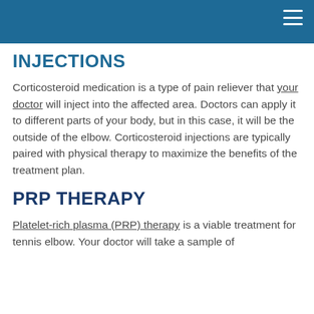INJECTIONS
Corticosteroid medication is a type of pain reliever that your doctor will inject into the affected area. Doctors can apply it to different parts of your body, but in this case, it will be the outside of the elbow. Corticosteroid injections are typically paired with physical therapy to maximize the benefits of the treatment plan.
PRP THERAPY
Platelet-rich plasma (PRP) therapy is a viable treatment for tennis elbow. Your doctor will take a sample of